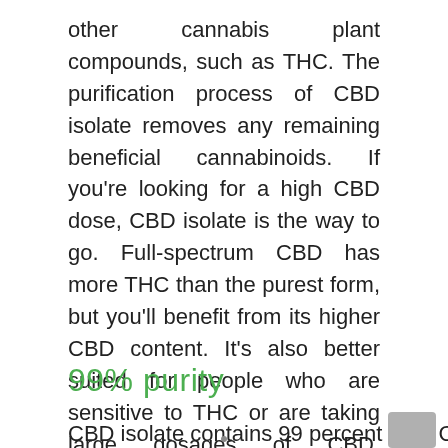other cannabis plant compounds, such as THC. The purification process of CBD isolate removes any remaining beneficial cannabinoids. If you're looking for a high CBD dose, CBD isolate is the way to go. Full-spectrum CBD has more THC than the purest form, but you'll benefit from its higher CBD content. It's also better suited for people who are sensitive to THC or are taking large dosages of CBD. However, if you're concerned about THC or you're taking a high dosage, it's best to stick to CBD isolate.
99% purity
CBD isolate contains 99 percent pure CBD...